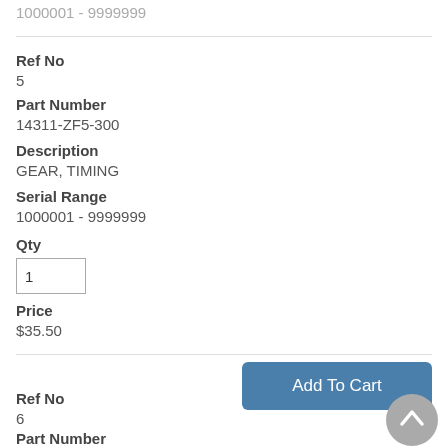1000001 - 9999999
Ref No
5
Part Number
14311-ZF5-300
Description
GEAR, TIMING
Serial Range
1000001 - 9999999
Qty
1
Price
$35.50
Add To Cart
Ref No
6
Part Number